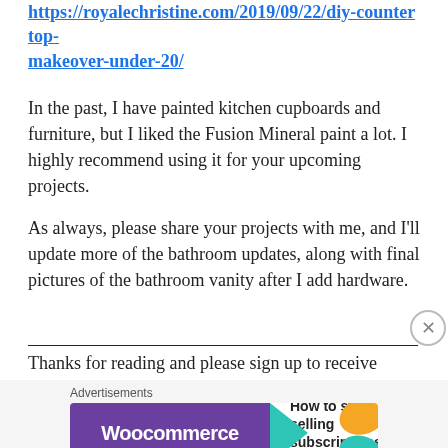https://royalechristine.com/2019/09/22/diy-countertop-makeover-under-20/
In the past, I have painted kitchen cupboards and furniture, but I liked the Fusion Mineral paint a lot. I highly recommend using it for your upcoming projects.
As always, please share your projects with me, and I'll update more of the bathroom updates, along with final pictures of the bathroom vanity after I add hardware.
Thanks for reading and please sign up to receive email updates for new posts.
[Figure (other): WooCommerce advertisement banner: purple background with WooCommerce logo and arrow, text 'How to start selling subscriptions online', decorative orange and blue/teal shapes on right side]